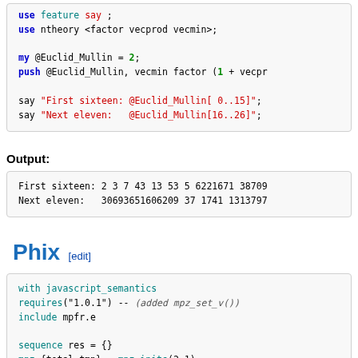[Figure (screenshot): Code block showing Perl/Raku code with use ntheory, my @Euclid_Mullin, push, say statements in syntax-highlighted monospace font]
Output:
[Figure (screenshot): Output block showing: First sixteen: 2 3 7 43 13 53 5 6221671 38709... and Next eleven: 30693651606209 37 1741 1313797...]
Phix [edit]
[Figure (screenshot): Phix code block showing: with javascript_semantics, requires("1.0.1") -- (added mpz_set_v()), include mpfr.e, sequence res = {}, mpz {total,tmp} = mpz_inits(2,1)]